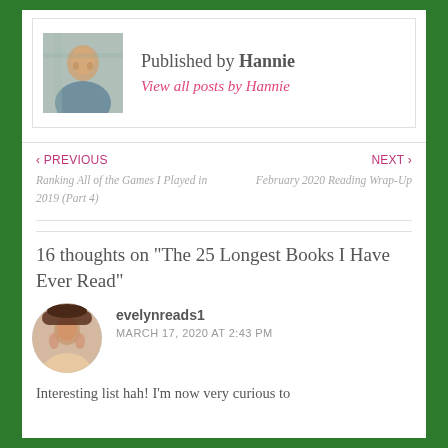Published by Hannie
View all posts by Hannie
‹ PREVIOUS
Ranking All of the Games I Played in 2019 (Part 4)
NEXT ›
February 2020 Reading Wrap-Up
16 thoughts on “The 25 Longest Books I Have Ever Read”
evelynreads1
MARCH 17, 2020 AT 2:43 PM
Interesting list hah! I’m now very curious to